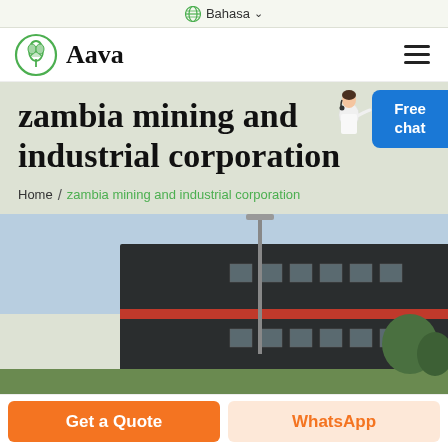Bahasa
[Figure (logo): Aava logo with green leaf circular icon and bold serif text 'Aava']
zambia mining and industrial corporation
Home / zambia mining and industrial corporation
[Figure (photo): Industrial building with dark metal cladding and red stripe, light pole in foreground, blue sky background]
[Figure (illustration): Customer service representative figure with headset, pointing gesture, next to blue 'Free chat' button]
Get a Quote
WhatsApp